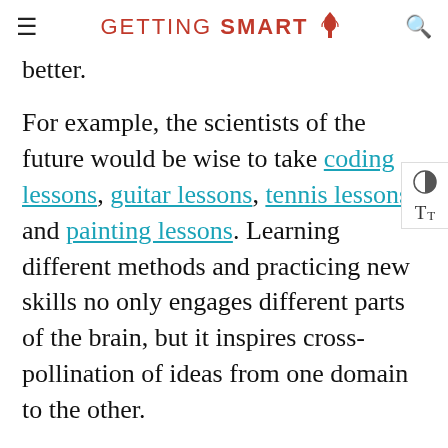GETTING SMART
better.
For example, the scientists of the future would be wise to take coding lessons, guitar lessons, tennis lessons and painting lessons. Learning different methods and practicing new skills not only engages different parts of the brain, but it inspires cross-pollination of ideas from one domain to the other.
4. Model Creativity in the Classroom
In one of the most popular Ted Talks of all time, “How Great Leaders Inspire Action,” Simon Sinek constantly repeats the key takeaway – “people don’t buy what you do, they